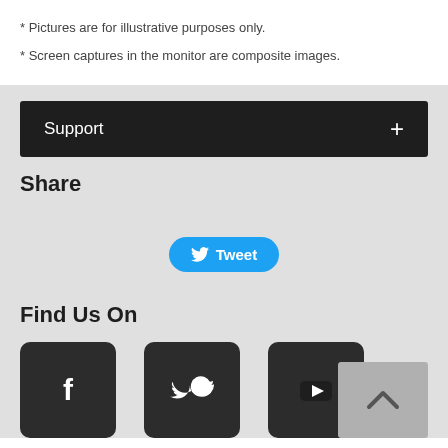* Pictures are for illustrative purposes only.
* Screen captures in the monitor are composite images.
Support
Share
[Figure (screenshot): Tweet button with Twitter bird icon]
Find Us On
[Figure (screenshot): Facebook, Twitter, and YouTube social media icon buttons, with a scroll-to-top arrow button]